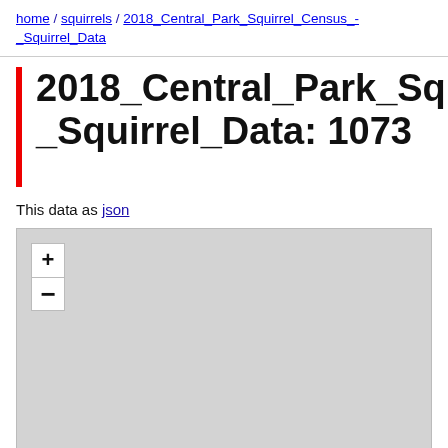home / squirrels / 2018_Central_Park_Squirrel_Census_-_Squirrel_Data
2018_Central_Park_Squirrel_Census_-_Squirrel_Data: 1073
This data as json
[Figure (map): Interactive map with zoom in (+) and zoom out (-) controls shown on a light gray background. Map content not visible at this zoom level.]